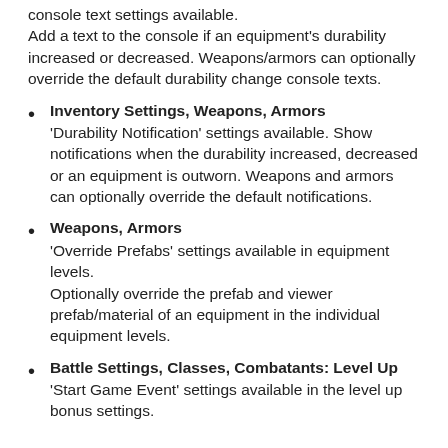console text settings available. Add a text to the console if an equipment's durability increased or decreased. Weapons/armors can optionally override the default durability change console texts.
Inventory Settings, Weapons, Armors
'Durability Notification' settings available. Show notifications when the durability increased, decreased or an equipment is outworn. Weapons and armors can optionally override the default notifications.
Weapons, Armors
'Override Prefabs' settings available in equipment levels. Optionally override the prefab and viewer prefab/material of an equipment in the individual equipment levels.
Battle Settings, Classes, Combatants: Level Up
'Start Game Event' settings available in the level up bonus settings.